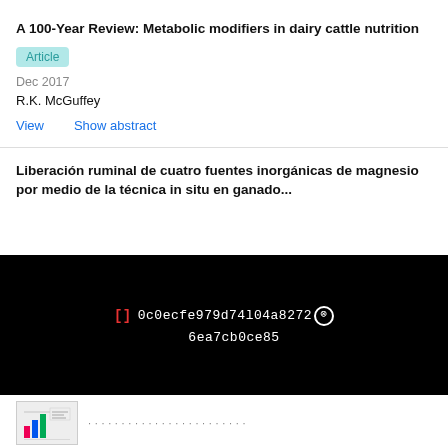A 100-Year Review: Metabolic modifiers in dairy cattle nutrition
Article
Dec 2017
R.K. McGuffey
View   Show abstract
Liberación ruminal de cuatro fuentes inorgánicas de magnesio por medio de la técnica in situ en ganado...
[Figure (screenshot): Black overlay bar showing hash code: 0c0ecfe979d74l04a82726ea7cb0ce85 with bracket symbol [] in red]
[Figure (thumbnail): Small thumbnail image of article with colored chart]